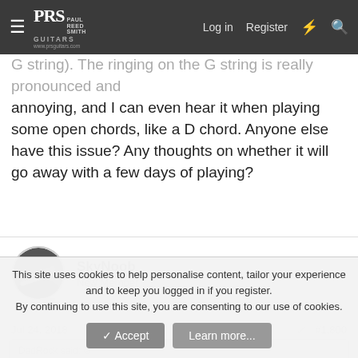PRS Paul Reed Smith Guitars www.prsguitars.com — Log in | Register
G string). The ringing on the G string is really pronounced and annoying, and I can even hear it when playing some open chords, like a D chord. Anyone else have this issue? Any thoughts on whether it will go away with a few days of playing?
SkyNoob
New Member
Jul 24, 2018  #1,800
DadRock said:
Very excited to enjoy my NGD today, with a Horizon model. Enjoying the pickups all around, especially the bridge pickup, but have a pretty gnarly metallic ringing on the G string (only the G string). The ringing
This site uses cookies to help personalise content, tailor your experience and to keep you logged in if you register.
By continuing to use this site, you are consenting to our use of cookies.